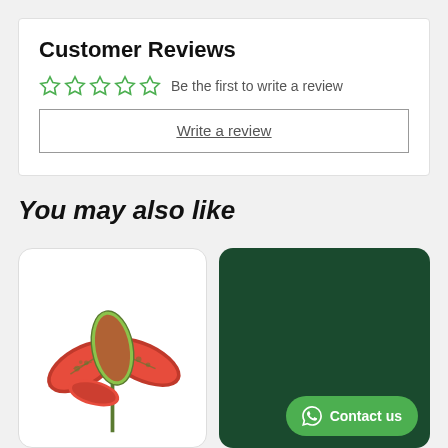Customer Reviews
Be the first to write a review
Write a review
You may also like
[Figure (photo): Pink and green spotted Aglaonema plant on white card]
[Figure (illustration): Dark green card with Contact us WhatsApp button]